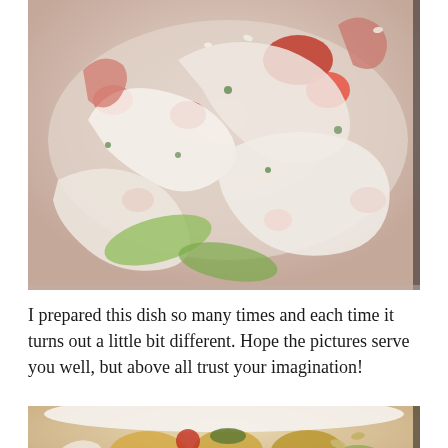[Figure (photo): Close-up photo of a seafood pasta dish with squid rings, shrimp, tomatoes, and vegetables in a light sauce on a white plate.]
I prepared this dish so many times and each time it turns out a little bit different. Hope the pictures serve you well, but above all trust your imagination!
[Figure (photo): Partial view of a second food photo showing a bowl with pasta, vegetables, and seafood with colorful toppings.]